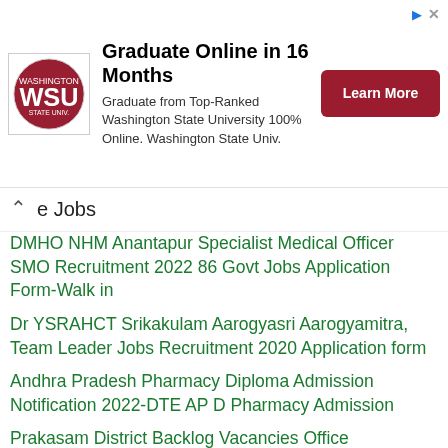[Figure (infographic): Advertisement banner for Washington State University online graduate program with WSU logo, text, and Learn More button]
e Jobs
DMHO NHM Anantapur Specialist Medical Officer SMO Recruitment 2022 86 Govt Jobs Application Form-Walk in
Dr YSRAHCT Srikakulam Aarogyasri Aarogyamitra, Team Leader Jobs Recruitment 2020 Application form
Andhra Pradesh Pharmacy Diploma Admission Notification 2022-DTE AP D Pharmacy Admission
Prakasam District Backlog Vacancies Office Subordinate, Driver, Typist, Cook, Attendar, Junior Assistant, Security Guard Jobs Application Form
APSSDC Visakhapatnam Pro Vigil Monitoring Executive Jobs Recruitment Registration Form-AP Private Jobs